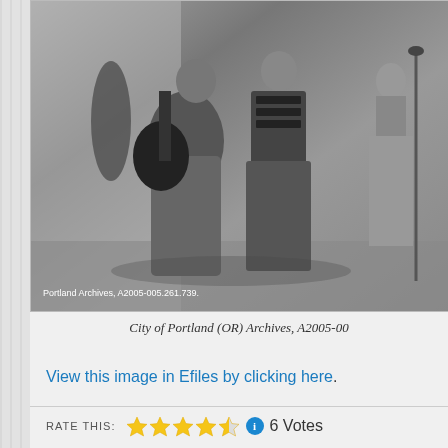[Figure (photo): Black and white archival photograph showing musicians performing. A man in a suit plays an archtop guitar in the foreground, another figure plays an accordion behind him, and a woman in a suit stands at a microphone stand on the right. White text in lower left reads 'Portland Archives, A2005-005.261.739.']
City of Portland (OR) Archives, A2005-00
View this image in Efiles by clicking here.
RATE THIS: ★★★★½ ℹ 6 Votes